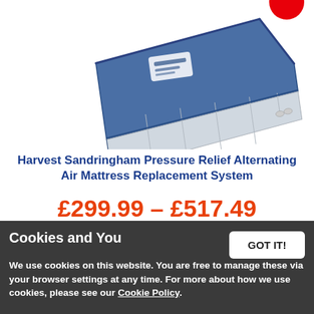[Figure (photo): Blue medical pressure relief alternating air mattress replacement system on white background, shown partially unzipped to reveal internal air cells.]
Harvest Sandringham Pressure Relief Alternating Air Mattress Replacement System
£299.99 – £517.49
(INC 20% VAT)
£359.99 – £620.99 EXC VAT)
Cookies and You
We use cookies on this website. You are free to manage these via your browser settings at any time. For more about how we use cookies, please see our Cookie Policy.
• Pressure Relief Rating: High Risk